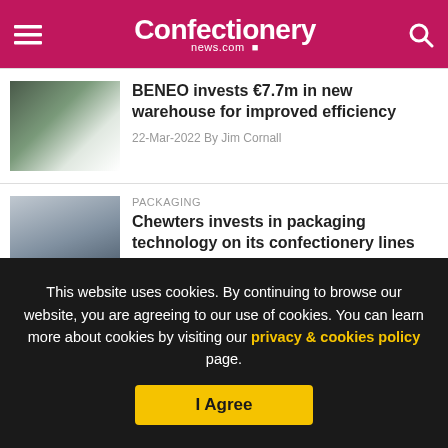Confectionery news.com
BENEO invests €7.7m in new warehouse for improved efficiency
22-Mar-2022 By Jim Cornall
PACKAGING
Chewters invests in packaging technology on its confectionery lines
18-Mar-2022 By Anthony Myers
This website uses cookies. By continuing to browse our website, you are agreeing to our use of cookies. You can learn more about cookies by visiting our privacy & cookies policy page.